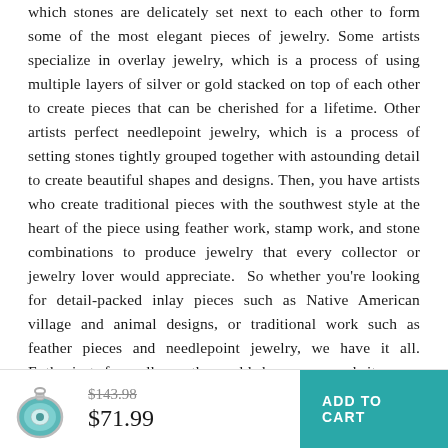which stones are delicately set next to each other to form some of the most elegant pieces of jewelry. Some artists specialize in overlay jewelry, which is a process of using multiple layers of silver or gold stacked on top of each other to create pieces that can be cherished for a lifetime. Other artists perfect needlepoint jewelry, which is a process of setting stones tightly grouped together with astounding detail to create beautiful shapes and designs. Then, you have artists who create traditional pieces with the southwest style at the heart of the piece using feather work, stamp work, and stone combinations to produce jewelry that every collector or jewelry lover would appreciate.  So whether you're looking for detail-packed inlay pieces such as Native American village and animal designs, or traditional work such as feather pieces and needlepoint jewelry, we have it all. Enthusiasts from all over the world shop on our website
[Figure (illustration): Small turquoise and silver pendant jewelry item]
$143.98 $71.99
ADD TO CART